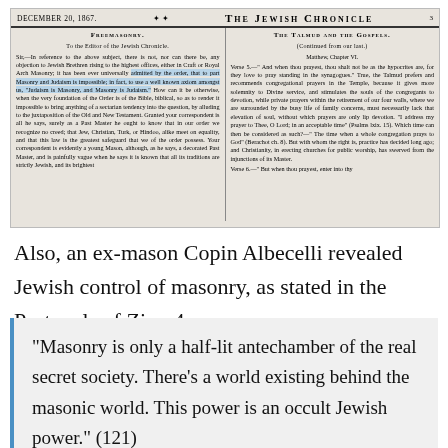[Figure (screenshot): Scanned newspaper clipping from The Jewish Chronicle, December 20, 1867, showing two columns: 'Freemasonry' (letter to the editor) and 'The Talmud and the Gospels (Continued from our last.) Matthew, Chapter VI.']
Also, an ex-mason Copin Albecelli revealed Jewish control of masonry, as stated in the Protocols of Zion 4.
“Masonry is only a half-lit antechamber of the real secret society. There’s a world existing behind the masonic world. This power is an occult Jewish power.” (121)